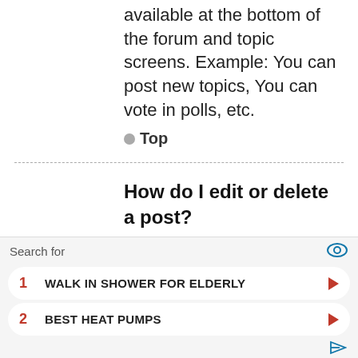available at the bottom of the forum and topic screens. Example: You can post new topics, You can vote in polls, etc.
Top
How do I edit or delete a post?
Unless you are a board administrator or moderator, you can only edit or delete your own posts. You can edit a
[Figure (other): Advertisement overlay with search bar, eye icon, two list items (1. WALK IN SHOWER FOR ELDERLY, 2. BEST HEAT PUMPS) with red arrows, and a small ad icon at bottom right.]